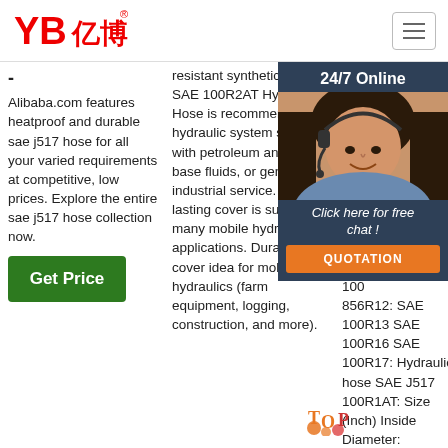[Figure (logo): YB亿博 company logo in red with registered trademark symbol]
[Figure (other): Hamburger menu icon button in top right]
-
Alibaba.com features heatproof and durable sae j517 hose for all your varied requirements at competitive, low prices. Explore the entire sae j517 hose collection now.
[Figure (other): Green Get Price button]
resistant synthetic rubber SAE 100R2AT Hydraulic Hose is recommended for hydraulic system service with petroleum and water-base fluids, or general industrial service. Long-lasting cover is suitable for many mobile hydraulic applications. Durable cover idea for mobile hydraulics (farm equipment, logging, construction, and more).
5u2002·u2002Air Bra Uni Fue Wa Suc Wa Hos 100 100 100 100 100 856R12: SAE 100R13 SAE 100R16 SAE 100R17: Hydraulics hose SAE J517 100R1AT: Size (Inch) Inside Diameter:
[Figure (photo): 24/7 Online customer service overlay with female agent wearing headset, Click here for free chat text, and QUOTATION button in orange]